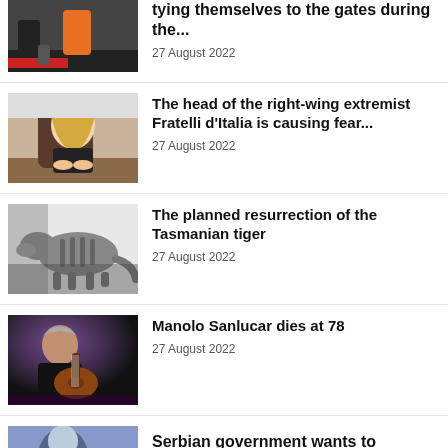[Figure (photo): Partial image of people, one in orange vest, near red flags or gate]
tying themselves to the gates during the...
27 August 2022
[Figure (photo): Woman with long blonde hair sitting at desk, smiling]
The head of the right-wing extremist Fratelli d'Italia is causing fear...
27 August 2022
[Figure (photo): Black and white photo of a Tasmanian tiger (thylacine)]
The planned resurrection of the Tasmanian tiger
27 August 2022
[Figure (photo): Elderly man with guitar, performing on stage in dark lighting]
Manolo Sanlucar dies at 78
27 August 2022
[Figure (photo): Partial image at bottom of page]
Serbian government wants to